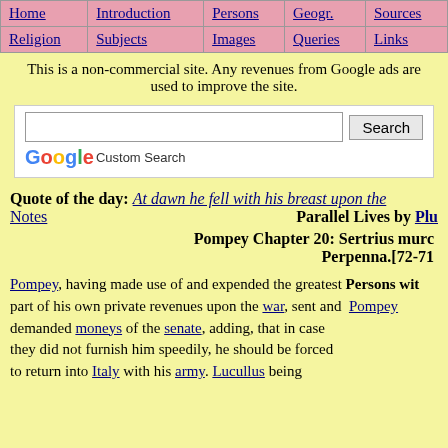Home | Introduction | Persons | Geogr. | Sources | Religion | Subjects | Images | Queries | Links
This is a non-commercial site. Any revenues from Google ads are used to improve the site.
[Figure (screenshot): Google Custom Search box with text input and Search button]
Quote of the day: At dawn he fell with his breast upon the Notes  Parallel Lives by Plu  Pompey Chapter 20: Sertrius murd Perpenna.[72-71
Pompey, having made use of and expended the greatest part of his own private revenues upon the war, sent and demanded moneys of the senate, adding, that in case they did not furnish him speedily, he should be forced to return into Italy with his army. Lucullus being  Persons wit  Pompey